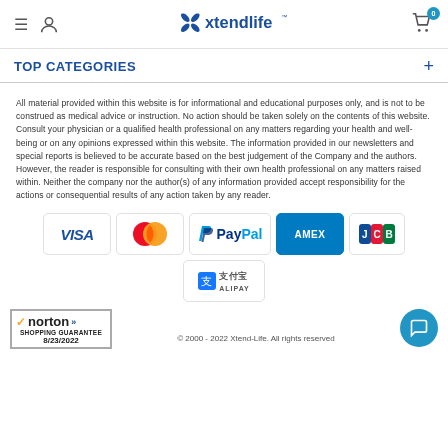Xtendlife - TOP CATEGORIES
TOP CATEGORIES
All material provided within this website is for informational and educational purposes only, and is not to be construed as medical advice or instruction. No action should be taken solely on the contents of this website. Consult your physician or a qualified health professional on any matters regarding your health and well-being or on any opinions expressed within this website. The information provided in our newsletters and special reports is believed to be accurate based on the best judgement of the Company and the authors. However, the reader is responsible for consulting with their own health professional on any matters raised within. Neither the company nor the author(s) of any information provided accept responsibility for the actions or consequential results of any action taken by any reader.
[Figure (logo): Payment logos: VISA, Mastercard, PayPal, AMEX, JCB, Alipay]
[Figure (logo): Norton Shopping Guarantee badge dated 8/23/2022]
© 2000 - 2022 Xtend-Life. All rights reserved